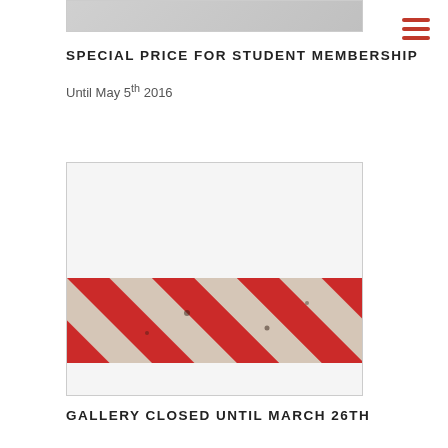[Figure (photo): Partial photo at top of page, cropped, showing bottom edge of an image]
SPECIAL PRICE FOR STUDENT MEMBERSHIP
Until May 5th 2016
[Figure (photo): Photo showing red and white diagonal stripes on a wooden surface, like a barrier or barricade]
GALLERY CLOSED UNTIL MARCH 26TH